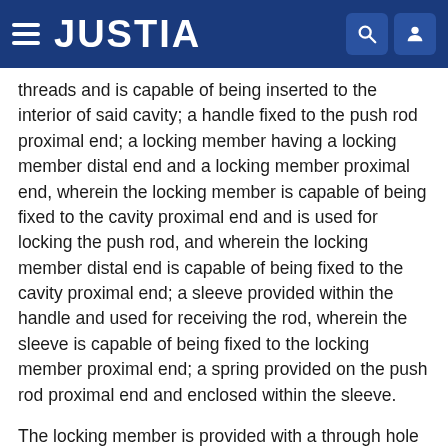JUSTIA
threads and is capable of being inserted to the interior of said cavity; a handle fixed to the push rod proximal end; a locking member having a locking member distal end and a locking member proximal end, wherein the locking member is capable of being fixed to the cavity proximal end and is used for locking the push rod, and wherein the locking member distal end is capable of being fixed to the cavity proximal end; a sleeve provided within the handle and used for receiving the rod, wherein the sleeve is capable of being fixed to the locking member proximal end; a spring provided on the push rod proximal end and enclosed within the sleeve.
The locking member is provided with a through hole and screws, and wherein the screws are capable of engaging with screws provided on the push rod.
The locking member is provided with a...